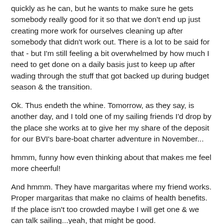quickly as he can, but he wants to make sure he gets somebody really good for it so that we don't end up just creating more work for ourselves cleaning up after somebody that didn't work out. There is a lot to be said for that - but I'm still feeling a bit overwhelmed by how much I need to get done on a daily basis just to keep up after wading through the stuff that got backed up during budget season & the transition.
Ok. Thus endeth the whine. Tomorrow, as they say, is another day, and I told one of my sailing friends I'd drop by the place she works at to give her my share of the deposit for our BVI's bare-boat charter adventure in November...
hmmm, funny how even thinking about that makes me feel more cheerful!
And hmmm. They have margaritas where my friend works. Proper margaritas that make no claims of health benefits. If the place isn't too crowded maybe I will get one & we can talk sailing...yeah, that might be good.